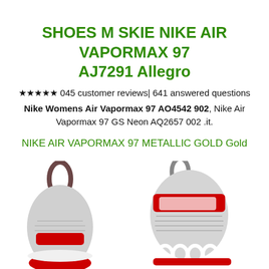SHOES M SKIE NIKE AIR VAPORMAX 97 AJ7291 Allegro
★★★★★ 045 customer reviews| 641 answered questions
Nike Womens Air Vapormax 97 AO4542 902, Nike Air Vapormax 97 GS Neon AQ2657 002 .it.
NIKE AIR VAPORMAX 97 METALLIC GOLD Gold
[Figure (photo): Two Nike Air Vapormax 97 shoes, one showing the heel/back and one showing the side profile, with red, white, and grey coloring]